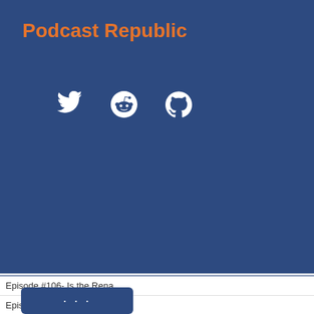Podcast Republic
[Figure (illustration): Social media icons: Twitter bird, Reddit alien, GitHub octocat — white icons on dark blue background]
Episode #106- Is the Rena...
Episode #105- Is the Rena...